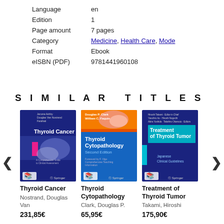| Language | en |
| Edition | 1 |
| Page amount | 7 pages |
| Category | Medicine, Health Care, Mode |
| Format | Ebook |
| eISBN (PDF) | 9781441960108 |
SIMILAR TITLES
[Figure (illustration): Book cover: Thyroid Cancer (blue cover with pink accent, Springer)]
Thyroid Cancer
Nostrand, Douglas Van
231,85€
[Figure (illustration): Book cover: Thyroid Cytopathology Second Edition (blue and orange cover, Springer)]
Thyroid Cytopathology
Clark, Douglas P.
65,95€
[Figure (illustration): Book cover: Treatment of Thyroid Tumor (blue and teal cover, Springer)]
Treatment of Thyroid Tumor
Takami, Hiroshi
175,90€